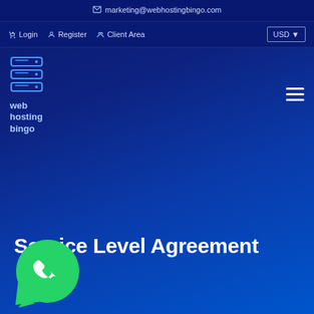marketing@webhostingbingo.com
Login   Register   Client Area   USD
[Figure (logo): Web Hosting Bingo logo with server stack icon and text 'web hosting bingo']
Service Level Agreement
[Figure (illustration): WhatsApp green circle icon with phone handset]